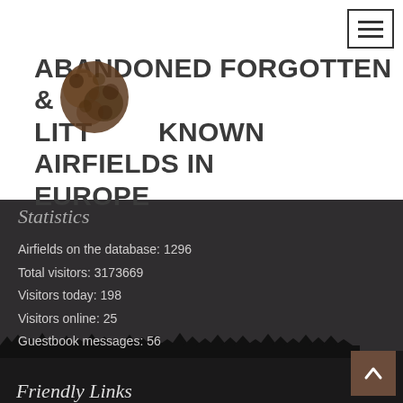[Figure (logo): Brown silhouette logo of a map of Europe with tree/forest texture overlay]
ABANDONED FORGOTTEN & LITTLE KNOWN AIRFIELDS IN EUROPE
Statistics
Airfields on the database: 1296
Total visitors: 3173669
Visitors today: 198
Visitors online: 25
Guestbook messages: 56
Friendly Links